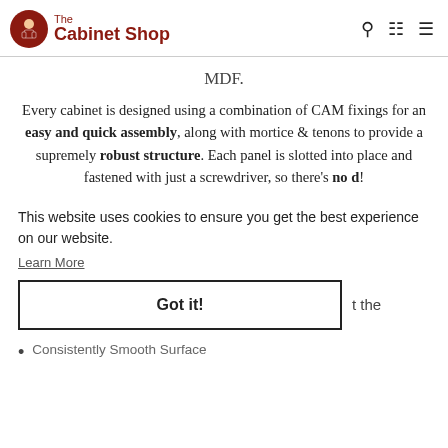The Cabinet Shop
MDF.
Every cabinet is designed using a combination of CAM fixings for an easy and quick assembly, along with mortice & tenons to provide a supremely robust structure. Each panel is slotted into place and fastened with just a screwdriver, so there's no d!
This website uses cookies to ensure you get the best experience on our website.
Learn More
Got it!
t the
Consistently Smooth Surface